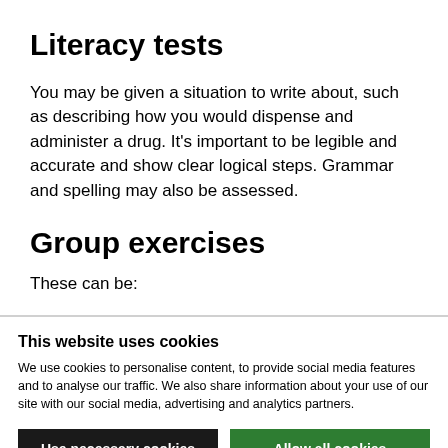Literacy tests
You may be given a situation to write about, such as describing how you would dispense and administer a drug. It’s important to be legible and accurate and show clear logical steps. Grammar and spelling may also be assessed.
Group exercises
These can be:
This website uses cookies
We use cookies to personalise content, to provide social media features and to analyse our traffic. We also share information about your use of our site with our social media, advertising and analytics partners.
Use necessary cookies only
Allow all cookies
Show details